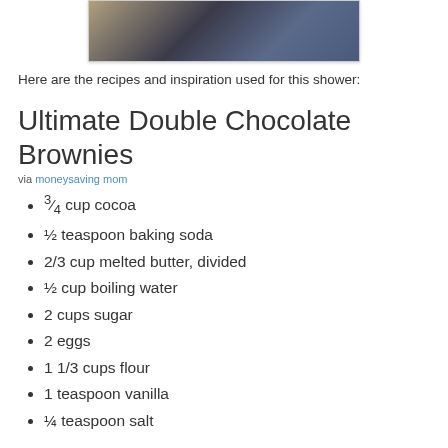[Figure (photo): Partial photo of a brownie or chocolate dessert, cropped at top of page]
Here are the recipes and inspiration used for this shower:
Ultimate Double Chocolate Brownies
via moneysaving mom
¾ cup cocoa
½ teaspoon baking soda
2/3 cup melted butter, divided
½ cup boiling water
2 cups sugar
2 eggs
1 1/3 cups flour
1 teaspoon vanilla
¼ teaspoon salt